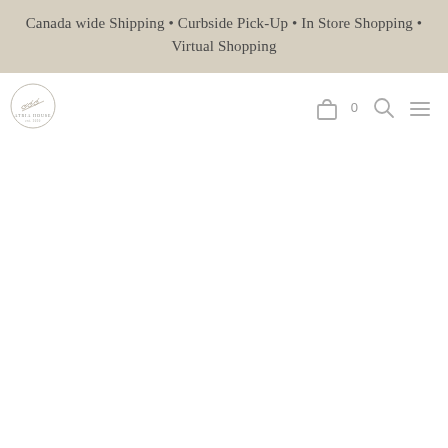Canada wide Shipping • Curbside Pick-Up • In Store Shopping • Virtual Shopping
[Figure (logo): Circular store logo with handwritten text and decorative elements]
[Figure (infographic): Navigation bar icons: shopping bag with count 0, search icon, hamburger menu icon]